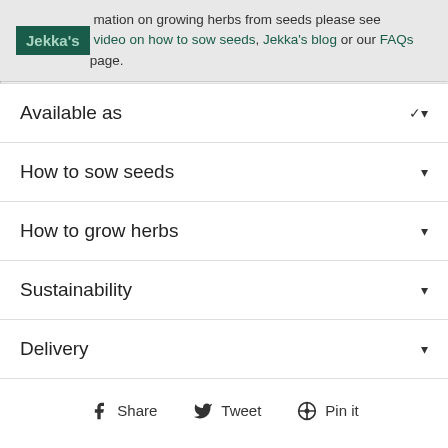mation on growing herbs from seeds please see video on how to sow seeds, Jekka's blog or our FAQs page.
Available as
How to sow seeds
How to grow herbs
Sustainability
Delivery
Share  Tweet  Pin it